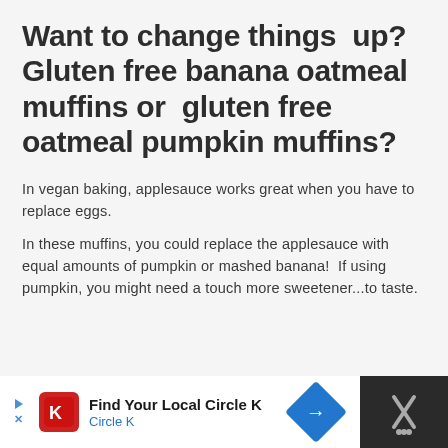Want to change things up? Gluten free banana oatmeal muffins or gluten free oatmeal pumpkin muffins?
In vegan baking, applesauce works great when you have to replace eggs.
In these muffins, you could replace the applesauce with equal amounts of pumpkin or mashed banana! If using pumpkin, you might need a touch more sweetener...to taste.
[Figure (other): Advertisement bar for Circle K: Find Your Local Circle K, with Circle K logo, navigation icon, and close button on dark background]